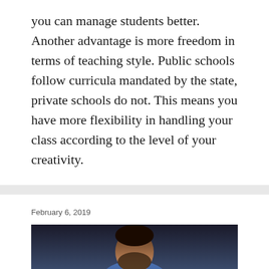you can manage students better. Another advantage is more freedom in terms of teaching style. Public schools follow curricula mandated by the state, private schools do not. This means you have more flexibility in handling your class according to the level of your creativity.
February 6, 2019
5 Characteristics of a Mature Christian
[Figure (photo): A man with a beard wearing a blue shirt, photographed from the shoulders up against a dark background.]